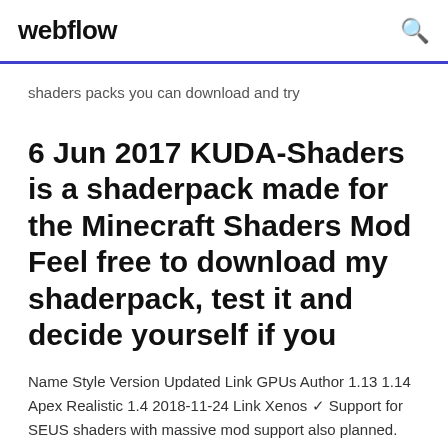webflow
shaders packs you can download and try
6 Jun 2017 KUDA-Shaders is a shaderpack made for the Minecraft Shaders Mod Feel free to download my shaderpack, test it and decide yourself if you
Name Style Version Updated Link GPUs Author 1.13 1.14 Apex Realistic 1.4 2018-11-24 Link Xenos ✓ Support for SEUS shaders with massive mod support also planned. you can do this via Donations, Patreon or buying on the Minecraft